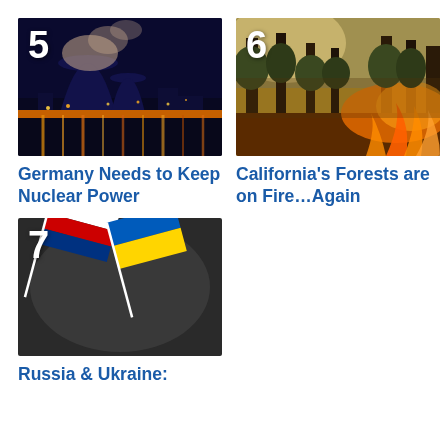[Figure (photo): Nuclear power plant at night with cooling towers and orange reflected lights on water, number 5 overlay]
[Figure (photo): Forest fire with trees and orange flames in background, number 6 overlay]
Germany Needs to Keep Nuclear Power
California’s Forests are on Fire…Again
[Figure (photo): Russian and Ukrainian flags crossed on dark background, number 7 overlay]
Russia & Ukraine: